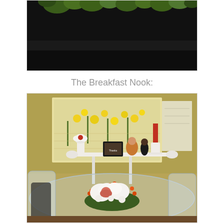[Figure (photo): Top cropped photo showing dark background with green foliage/leaves visible at the top edge, likely a plant or floral arrangement against a dark surface.]
The Breakfast Nook:
[Figure (photo): Photo of a breakfast nook showing a glass-top round dining table with clear ghost chairs, a floral centerpiece with white magnolias and orange berry branches, a small white drop-leaf side table against a yellow wall with framed floral artwork, decorative figurines, a photo frame, and a red candle on a white candlestick.]